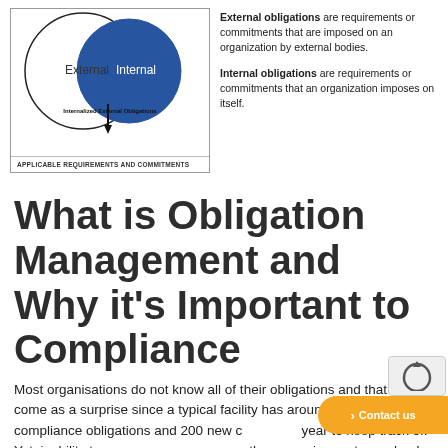[Figure (infographic): Venn diagram showing two overlapping circles: 'External' (white/outline) and 'Internal' (blue/filled), with a downward arrow at the intersection labeled 'Internalized External Obligations'. Footer reads 'APPLICABLE REQUIREMENTS AND COMMITMENTS'.]
External obligations are requirements or commitments that are imposed on an organization by external bodies.
Internal obligations are requirements or commitments that an organization imposes on itself.
What is Obligation Management and Why it's Important to Compliance
Most organisations do not know all of their obligations and that doesn't come as a surprise since a typical facility has around 3,000 compliance obligations and 200 new changes a year to keep track of. Yet, inability to ensure compliance with these requirements can lead to violations, spills, product recalls, worker injuries, and more dire consequences.